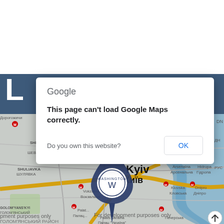[Figure (screenshot): Screenshot of a webpage showing a Google Maps error dialog overlay on a map of Kyiv, Ukraine. The dialog reads 'Google', 'This page can't load Google Maps correctly.', 'Do you own this website?', with an OK button. The map shows Kyiv with a Washington-branded location pin, and 'For development purposes only' watermarks across the map.]
Google
This page can't load Google Maps correctly.
Do you own this website?
OK